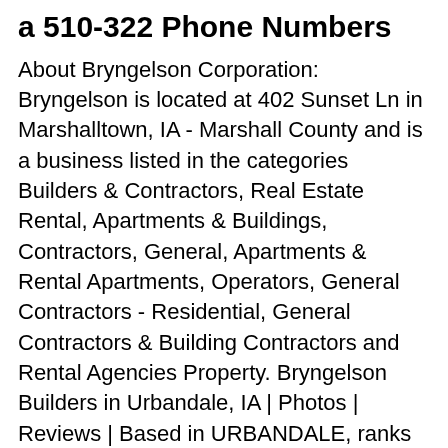a 510-322 Phone Numbers
About Bryngelson Corporation: Bryngelson is located at 402 Sunset Ln in Marshalltown, IA - Marshall County and is a business listed in the categories Builders & Contractors, Real Estate Rental, Apartments & Buildings, Contractors, General, Apartments & Rental Apartments, Operators, General Contractors - Residential, General Contractors & Building Contractors and Rental Agencies Property. Bryngelson Builders in Urbandale, IA | Photos | Reviews | Based in URBANDALE, ranks in the top 99% of licensed contractors in Iowa. General Contractor, Residential, Contractor License: C102222. For all your DIY, paint and building materials needs, trust Builders to help you get it done. Buy online, collect in store, we deliver. See reviews for Bryngelson